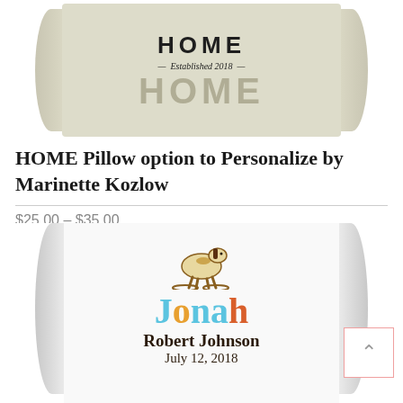[Figure (photo): A pillow showing 'HOME Established 2018 HOME' text on a cream/tan background, partially cropped showing the top portion of the pillow]
HOME Pillow option to Personalize by Marinette Kozlow
$25.00 – $35.00
[Figure (photo): A white pillow with a rocking horse illustration, the name 'Jonah' in colorful letters, 'Robert Johnson' below, and a partially visible date, cropped to show the top portion]